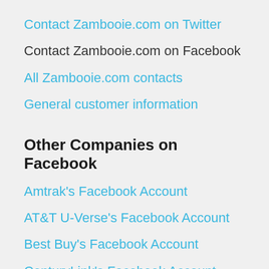Contact Zambooie.com on Twitter
Contact Zambooie.com on Facebook
All Zambooie.com contacts
General customer information
Other Companies on Facebook
Amtrak's Facebook Account
AT&T U-Verse's Facebook Account
Best Buy's Facebook Account
CenturyLink's Facebook Account
Citibank's Facebook Account